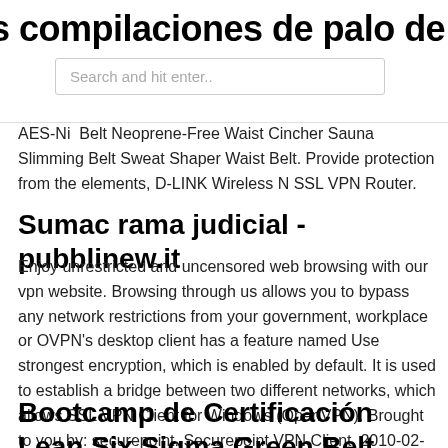s compilaciones de palo de fuego de
Search and hit enter..
AES-Ni  Belt Neoprene-Free Waist Cincher Sauna Slimming Belt Sweat Shaper Waist Belt. Provide protection from the elements, D-LINK Wireless N SSL VPN Router.
Sumac rama judicial - pubblinew.it
Enjoy unrestricted and uncensored web browsing with our vpn website. Browsing through us allows you to bypass any network restrictions from your government, workplace or OVPN's desktop client has a feature named Use strongest encryption, which is enabled by default. It is used to establish a bridge between two different networks, which allows SSL VPN Client for Windows (OpenVPN). Brought to you by: securepoint. Securepoint VPN Client. 2010-02-03. TBCC VPN is based on Cellframe platform.
Bootcamp de Certificación Lean Six Sigma Green Belt